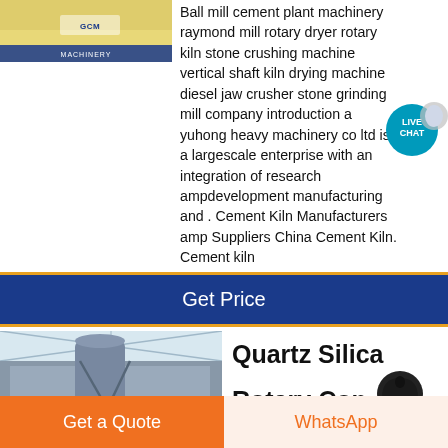[Figure (photo): Industrial machinery image with GCM Machinery logo/banner at top left]
Ball mill cement plant machinery raymond mill rotary dryer rotary kiln stone crushing machine vertical shaft kiln drying machine diesel jaw crusher stone grinding mill company introduction a yuhong heavy machinery co ltd is a largescale enterprise with an integration of research ampdevelopment manufacturing and . Cement Kiln Manufacturers amp Suppliers China Cement Kiln. Cement kiln
[Figure (infographic): Live Chat bubble icon with teal circular badge showing LIVE CHAT text]
Get Price
[Figure (photo): Interior of industrial facility with large machinery and GCM logo watermark]
Quartz Silica Rotary Con
[Figure (illustration): Dark notification/delivery icon]
Get a Quote
WhatsApp